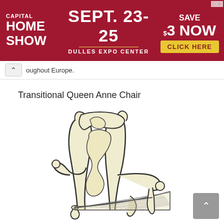[Figure (other): Capital Home Show advertisement banner. Dark red background. Left: 'CAPITAL HOME SHOW' in white bold text. Center: 'SEPT. 23-25' in large white bold text, orange divider line, 'DULLES EXPO CENTER' in white. Right: 'SAVE $3 NOW' in large white text, yellow 'CLICK HERE' button.]
oughout Europe.
Transitional Queen Anne Chair
[Figure (illustration): Line drawing illustration of a Transitional Queen Anne Chair. The chair has an ornate carved splat back with vase/fiddle shape, curved cabriole-style uprights with scroll tops, curved scroll arms, turned front legs, and a woven rush seat. The drawing is in cream/tan tones with black outlines.]
[Figure (other): Scroll-to-top button, gray rounded square with upward pointing chevron/arrow in white.]